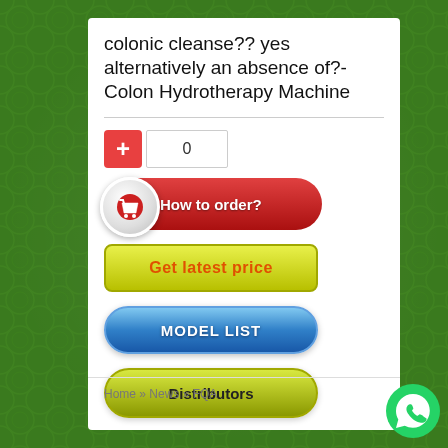colonic cleanse?? yes alternatively an absence of?-Colon Hydrotherapy Machine
[Figure (screenshot): Quantity selector with red plus button and input field showing 0]
[Figure (screenshot): Red rounded button with shopping cart icon labeled How to order?]
[Figure (screenshot): Yellow-green button labeled Get latest price]
[Figure (screenshot): Blue glossy pill button labeled MODEL LIST]
[Figure (screenshot): Olive-green pill button labeled Distributors]
Home » News » FQA
[Figure (logo): WhatsApp green circle logo in bottom right corner]